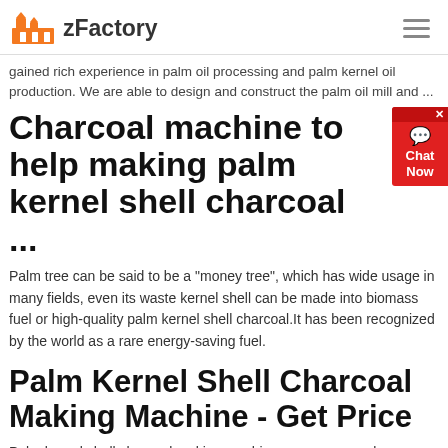zFactory
gained rich experience in palm oil processing and palm kernel oil production. We are able to design and construct the palm oil mill and ...
Charcoal machine to help making palm kernel shell charcoal ...
Palm tree can be said to be a "money tree", which has wide usage in many fields, even its waste kernel shell can be made into biomass fuel or high-quality palm kernel shell charcoal.It has been recognized by the world as a rare energy-saving fuel.
Palm Kernel Shell Charcoal Making Machine - Get Price
Palm kernel shell charcoal making machine can process a large quantity of palm kernel shells into charcoal, wood vinegar, tar, biogas. Palm kernel shells have the potential to make high calorific value charcoal. As a